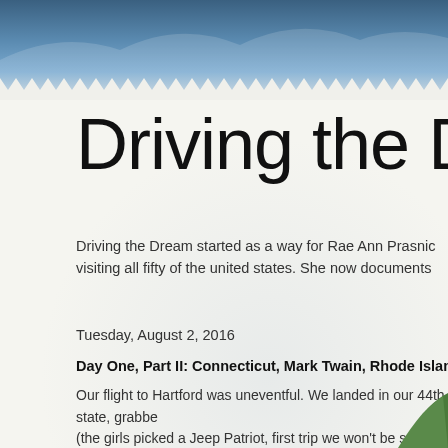[Figure (photo): Blue sky/mountain background photo header for travel blog 'Driving the Dream']
Driving the Drea
Driving the Dream started as a way for Rae Ann Prasnic visiting all fifty of the united states. She now documents
Tuesday, August 2, 2016
Day One, Part II: Connecticut, Mark Twain, Rhode Island, S
Our flight to Hartford was uneventful. We landed in our 44th state, grabbe (the girls picked a Jeep Patriot, first trip we won't be sporting a sexy mini- Twain's house.
[Figure (photo): Corner of trees visible in lower right]